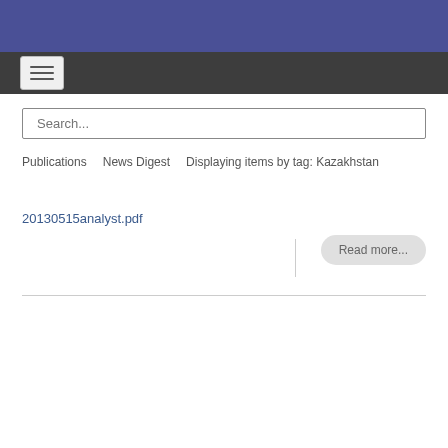[Figure (screenshot): Blue header bar and dark navigation bar with hamburger menu button]
Search...
Publications   News Digest   Displaying items by tag: Kazakhstan
20130515analyst.pdf
Read more...